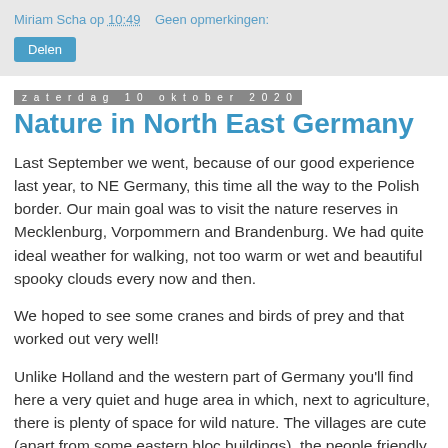Miriam Scha op 10:49   Geen opmerkingen:
Delen
zaterdag 10 oktober 2020
Nature in North East Germany
Last September we went, because of our good experience last year, to NE Germany, this time all the way to the Polish border. Our main goal was to visit the nature reserves in Mecklenburg, Vorpommern and Brandenburg. We had quite ideal weather for walking, not too warm or wet and beautiful spooky clouds every now and then.
We hoped to see some cranes and birds of prey and that worked out very well!
Unlike Holland and the western part of Germany you'll find here a very quiet and huge area in which, next to agriculture, there is plenty of space for wild nature. The villages are cute (apart from some eastern bloc buildings), the people friendly and the roads